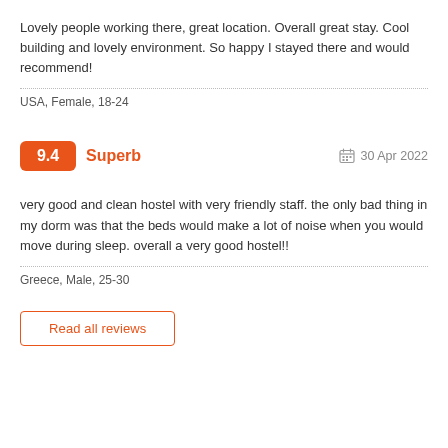Lovely people working there, great location. Overall great stay. Cool building and lovely environment. So happy I stayed there and would recommend!
USA, Female, 18-24
9.4  Superb    30 Apr 2022
very good and clean hostel with very friendly staff. the only bad thing in my dorm was that the beds would make a lot of noise when you would move during sleep. overall a very good hostel!!
Greece, Male, 25-30
Read all reviews